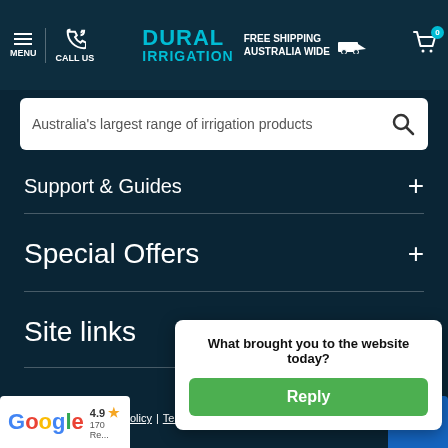Dural Irrigation — Menu | Call Us | Free Shipping Australia Wide | Cart (0)
Australia's largest range of irrigation products
Support & Guides +
Special Offers +
Site links +
Contact us +
Privacy Policy | Terms and Conditions | ... | NODA
4.9 ★ 170 Reviews (Google)
What brought you to the website today? Reply